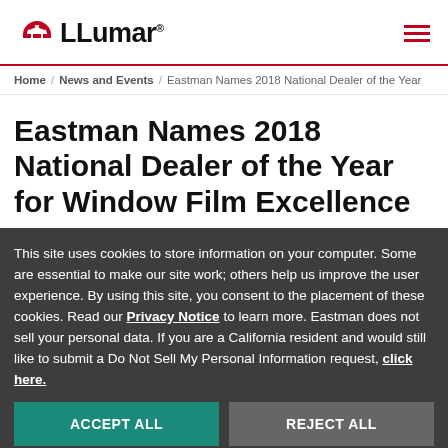LLumar [logo]
Home / News and Events / Eastman Names 2018 National Dealer of the Year
Eastman Names 2018 National Dealer of the Year for Window Film Excellence
This site uses cookies to store information on your computer. Some are essential to make our site work; others help us improve the user experience. By using this site, you consent to the placement of these cookies. Read our Privacy Notice to learn more. Eastman does not sell your personal data. If you are a California resident and would still like to submit a Do Not Sell My Personal Information request, click here.
ACCEPT ALL
REJECT ALL